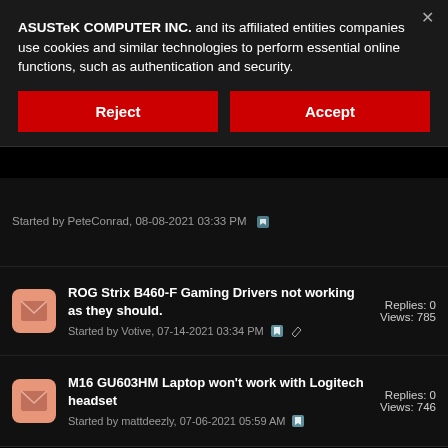ASUSTeK COMPUTER INC. and its affiliated entities companies use cookies and similar technologies to perform essential online functions, such as authentication and security.
Reject
Accept
Started by PeteConrad, 08-08-2021 03:33 PM
ROG Strix B460-F Gaming Drivers not working as they should.
Started by Votive, 07-14-2021 03:34 PM
Replies: 0
Views: 785
M16 GU603HM Laptop won't work with Logitech headset
Started by mattdeezly, 07-06-2021 05:59 AM
Replies: 0
Views: 746